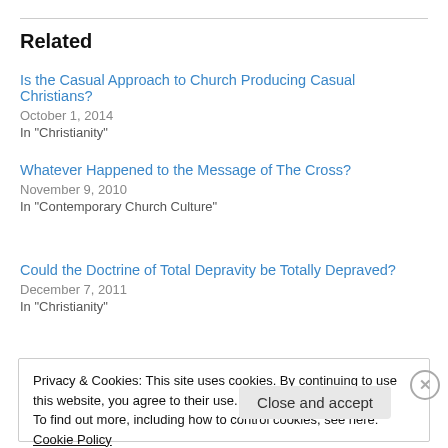Related
Is the Casual Approach to Church Producing Casual Christians?
October 1, 2014
In "Christianity"
Whatever Happened to the Message of The Cross?
November 9, 2010
In "Contemporary Church Culture"
Could the Doctrine of Total Depravity be Totally Depraved?
December 7, 2011
In "Christianity"
Privacy & Cookies: This site uses cookies. By continuing to use this website, you agree to their use.
To find out more, including how to control cookies, see here: Cookie Policy
Close and accept